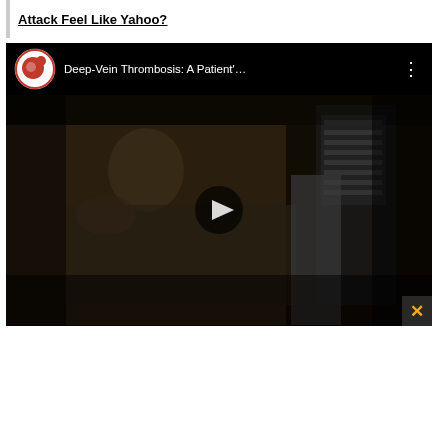Attack Feel Like Yahoo?
[Figure (screenshot): YouTube video thumbnail showing 'Deep-Vein Thrombosis: A Patient'...' with a patient lying in a hospital bed and medical equipment visible, with a play button overlay. A close (X) button in orange is visible at the bottom right corner.]